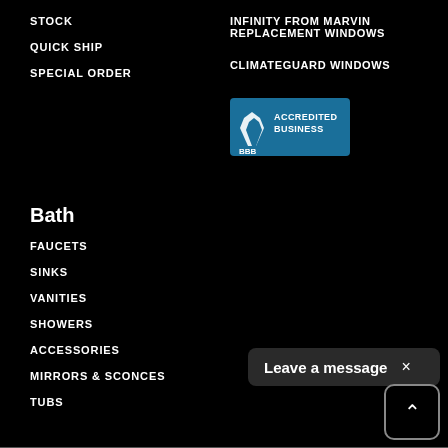STOCK
QUICK SHIP
SPECIAL ORDER
INFINITY FROM MARVIN REPLACEMENT WINDOWS
CLIMATEGUARD WINDOWS
[Figure (logo): BBB Accredited Business badge with blue background and white text]
Bath
FAUCETS
SINKS
VANITIES
SHOWERS
ACCESSORIES
MIRRORS & SCONCES
TUBS
Leave a message ×